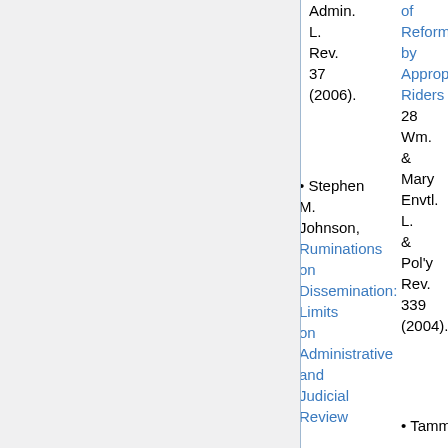Admin. L. Rev. 37 (2006).
Stephen M. Johnson, Ruminations on Dissemination: Limits on Administrative and Judicial Review Under...
of Reform by Appropriations Riders 28 Wm. & Mary Envtl. L. & Pol'y Rev. 339 (2004).
Tammy P...